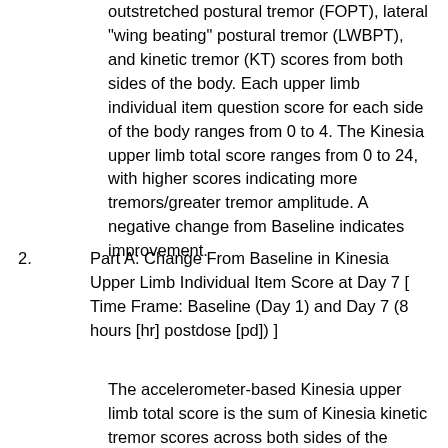outstretched postural tremor (FOPT), lateral "wing beating" postural tremor (LWBPT), and kinetic tremor (KT) scores from both sides of the body. Each upper limb individual item question score for each side of the body ranges from 0 to 4. The Kinesia upper limb total score ranges from 0 to 24, with higher scores indicating more tremors/greater tremor amplitude. A negative change from Baseline indicates improvement.
2. Part A: Change From Baseline in Kinesia Upper Limb Individual Item Score at Day 7 [ Time Frame: Baseline (Day 1) and Day 7 (8 hours [hr] postdose [pd]) ]
The accelerometer-based Kinesia upper limb total score is the sum of Kinesia kinetic tremor scores across both sides of the body. The individual items included forward outstretched postural tremor (FOPT), lateral "wing beating" postural tremor (LWBPT), and kinetic tremor (KT) scores from both sides of the body. Each upper limb individual item question score for each side of the